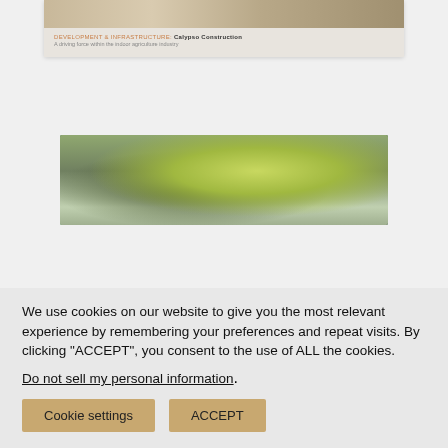[Figure (photo): Cropped top portion of a card showing a sandy/beige landscape image with a light background]
DEVELOPMENT & INFRASTRUCTURE: Calypso Construction
A driving force within the indoor agriculture industry
[Figure (photo): A construction worker wearing a high-visibility green jacket and black gloves holding a power tool, with metal scaffolding in the background]
We use cookies on our website to give you the most relevant experience by remembering your preferences and repeat visits. By clicking "ACCEPT", you consent to the use of ALL the cookies.
Do not sell my personal information.
Cookie settings   ACCEPT